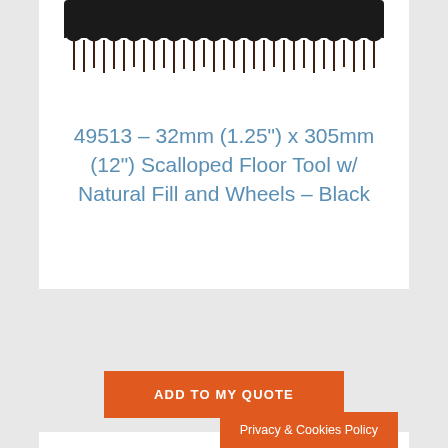[Figure (photo): Close-up photo of a black scalloped floor brush/tool with dark brown natural bristles, viewed from below against a white background. The brush head is rectangular and wide.]
49513 – 32mm (1.25") x 305mm (12") Scalloped Floor Tool w/ Natural Fill and Wheels – Black
ADD TO MY QUOTE
Privacy & Cookies Policy